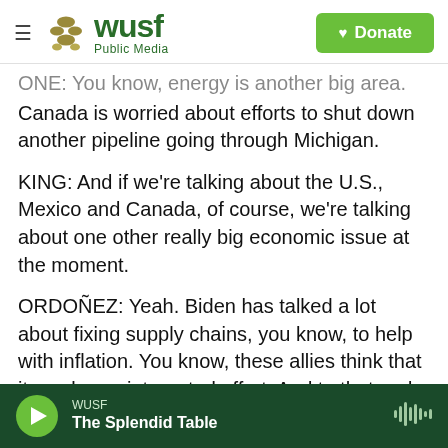WUSF Public Media — Donate
ONE: You know, energy is another big area. Canada is worried about efforts to shut down another pipeline going through Michigan.
KING: And if we're talking about the U.S., Mexico and Canada, of course, we're talking about one other really big economic issue at the moment.
ORDOÑEZ: Yeah. Biden has talked a lot about fixing supply chains, you know, to help with inflation. You know, these allies think that it can be an integrated effort. And to that end, senior administration officials said on the call that they'll start a North American supply chain working group. The reality
WUSF — The Splendid Table